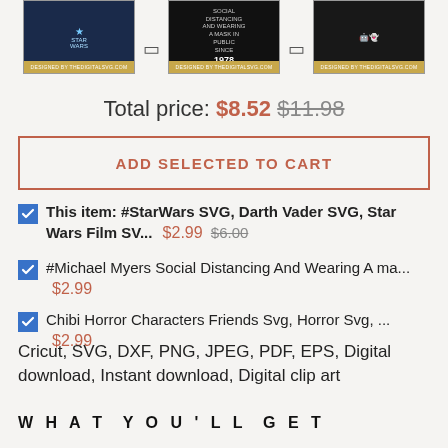[Figure (screenshot): Three product thumbnail images showing Star Wars themed SVG designs with gold branding bar at bottom]
Total price: $8.52 $11.98
ADD SELECTED TO CART
This item: #StarWars SVG, Darth Vader SVG, Star Wars Film SV... $2.99 $6.00
#Michael Myers Social Distancing And Wearing A ma... $2.99
Chibi Horror Characters Friends Svg, Horror Svg, ... $2.99
Cricut, SVG, DXF, PNG, JPEG, PDF, EPS, Digital download, Instant download, Digital clip art
W H A T Y O U ' L L G E T